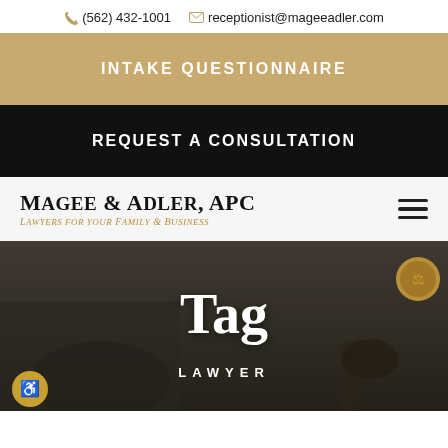(562) 432-1001  receptionist@mageeadler.com
INTAKE QUESTIONNAIRE
REQUEST A CONSULTATION
Magee & Adler, APC — Lawyers for Your Family & Business
[Figure (photo): Dark overlay hero image with a lawyer signing documents and a gavel, overlaid with the text 'Tag' and 'LAWYER']